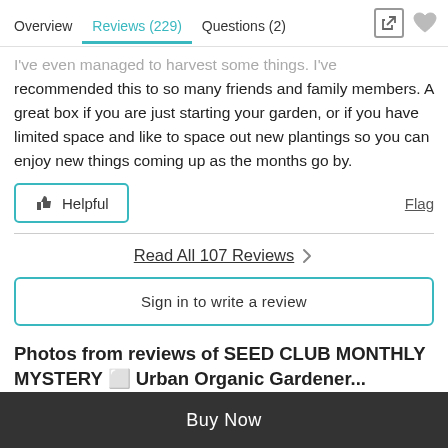Overview | Reviews (229) | Questions (2)
...managed to harvest some things. I've recommended this to so many friends and family members. A great box if you are just starting your garden, or if you have limited space and like to space out new plantings so you can enjoy new things coming up as the months go by.
Helpful | Flag
Read All 107 Reviews >
Sign in to write a review
Photos from reviews of SEED CLUB MONTHLY MYSTERY ⬜ Urban Organic Gardener...
Buy Now